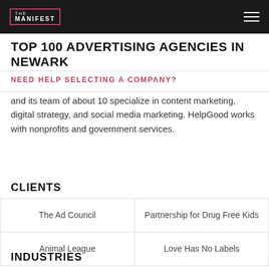THE MANIFEST
TOP 100 ADVERTISING AGENCIES IN NEWARK
NEED HELP SELECTING A COMPANY?
and its team of about 10 specialize in content marketing, digital strategy, and social media marketing. HelpGood works with nonprofits and government services.
CLIENTS
| The Ad Council | Partnership for Drug Free Kids |
| Animal League | Love Has No Labels |
INDUSTRIES